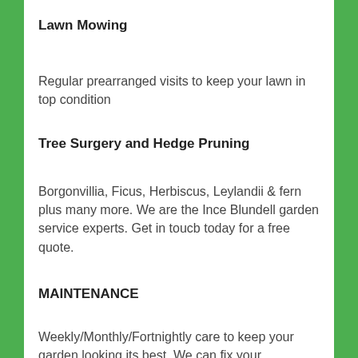Lawn Mowing
Regular prearranged visits to keep your lawn in top condition
Tree Surgery and Hedge Pruning
Borgonvillia, Ficus, Herbiscus, Leylandii & fern plus many more. We are the Ince Blundell garden service experts. Get in touch today for a free quote.
MAINTENANCE
Weekly/Monthly/Fortnightly care to keep your garden looking its best. We can fix your